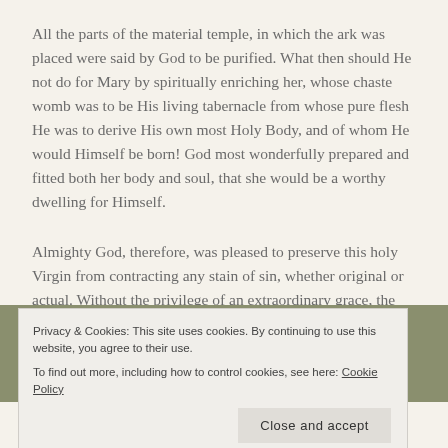All the parts of the material temple, in which the ark was placed were said by God to be purified. What then should He not do for Mary by spiritually enriching her, whose chaste womb was to be His living tabernacle from whose pure flesh He was to derive His own most Holy Body, and of whom He would Himself be born! God most wonderfully prepared and fitted both her body and soul, that she would be a worthy dwelling for Himself.
Almighty God, therefore, was pleased to preserve this holy Virgin from contracting any stain of sin, whether original or actual. Without the privilege of an extraordinary grace, the
Privacy & Cookies: This site uses cookies. By continuing to use this website, you agree to their use.
To find out more, including how to control cookies, see here: Cookie Policy
extraordinary grace; she never suffered the least remission